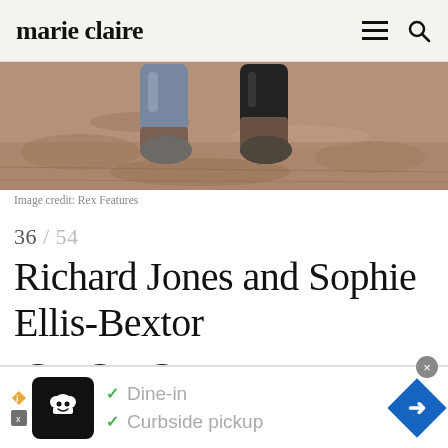marie claire
[Figure (photo): Close-up photo of two pairs of muddy boots standing on muddy ground — one pair light blue/grey, one pair black]
Image credit: Rex Features
36 / 54
Richard Jones and Sophie Ellis-Bextor
[Figure (infographic): Social share icons: Facebook, Twitter, Pinterest (black circles)]
[Figure (infographic): Advertisement bar showing restaurant logo, checkmarks for Dine-in and Curbside pickup, and a blue direction arrow]